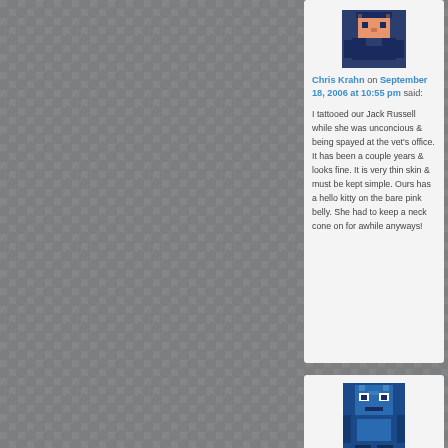[Figure (illustration): Pixel art avatar of a person in dark blue/orange colors (Chris Krahn avatar)]
Chris Krahn on September 18, 2006 at 10:55 pm said:
I tattooed our Jack Russell while she was unconcious & being spayed at the vet's office. It has been a couple years & looks fine. It is very thin skin & must be kept simple. Ours has a hello kitty on the bare pink belly. She had to keep a neck cone on for awhile anyways!
[Figure (illustration): Pixel art avatar of a character in blue tones (second commenter avatar)]